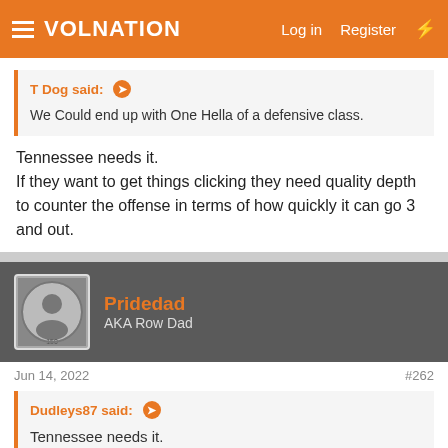VolNation — Log in  Register
T Dog said: ↗
We Could end up with One Hella of a defensive class.
Tennessee needs it.
If they want to get things clicking they need quality depth to counter the offense in terms of how quickly it can go 3 and out.
Pridedad
AKA Row Dad
Jun 14, 2022  #262
Dudleys87 said: ↗
Tennessee needs it.
If they want to get things clicking they need quality depth to counter the offense in terms of how quickly it can go 3 and out.